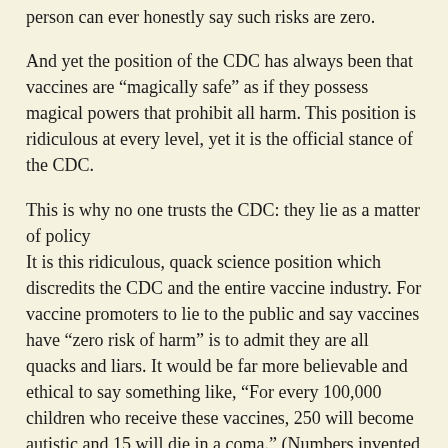person can ever honestly say such risks are zero.
And yet the position of the CDC has always been that vaccines are “magically safe” as if they possess magical powers that prohibit all harm. This position is ridiculous at every level, yet it is the official stance of the CDC.
This is why no one trusts the CDC: they lie as a matter of policy
It is this ridiculous, quack science position which discredits the CDC and the entire vaccine industry. For vaccine promoters to lie to the public and say vaccines have “zero risk of harm” is to admit they are all quacks and liars. It would be far more believable and ethical to say something like, “For every 100,000 children who receive these vaccines, 250 will become autistic and 15 will die in a coma.” (Numbers invented here for illustration purposes only. These are not